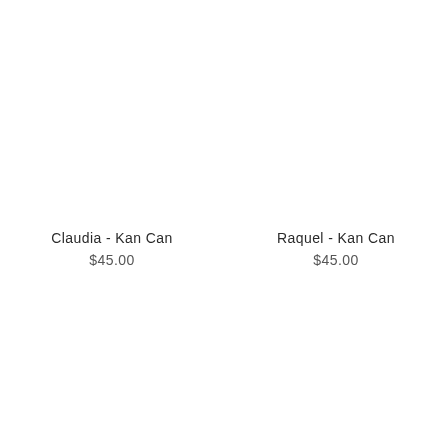Claudia - Kan Can
$45.00
Raquel - Kan Can
$45.00